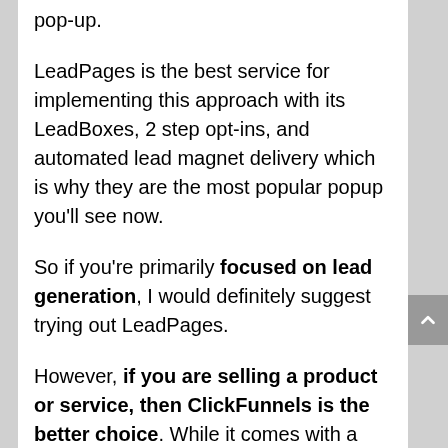pop-up.
LeadPages is the best service for implementing this approach with its LeadBoxes, 2 step opt-ins, and automated lead magnet delivery which is why they are the most popular popup you'll see now.
So if you're primarily focused on lead generation, I would definitely suggest trying out LeadPages.
However, if you are selling a product or service, then ClickFunnels is the better choice. While it comes with a higher learning curve than Leadpages, once you master the tool, you can really explode your sales once you start creating sales funnels for each of your products.
But, if you're selling a service or product, then